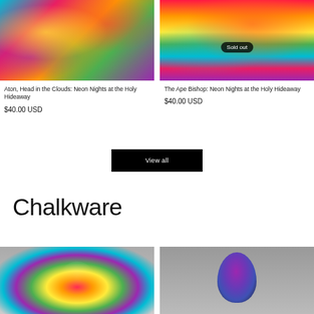[Figure (photo): Colorful textured painting - Aton, Head in the Clouds: Neon Nights at the Holy Hideaway]
[Figure (photo): Psychedelic neon painting with Sold out badge - The Ape Bishop: Neon Nights at the Holy Hideaway]
Aton, Head in the Clouds: Neon Nights at the Holy Hideaway
The Ape Bishop: Neon Nights at the Holy Hideaway
$40.00 USD
$40.00 USD
View all
Chalkware
[Figure (photo): Colorful chalkware sculpture with multicolor drip pattern on grey background]
[Figure (photo): Purple/blue chalkware egg-shaped sculpture on grey background]